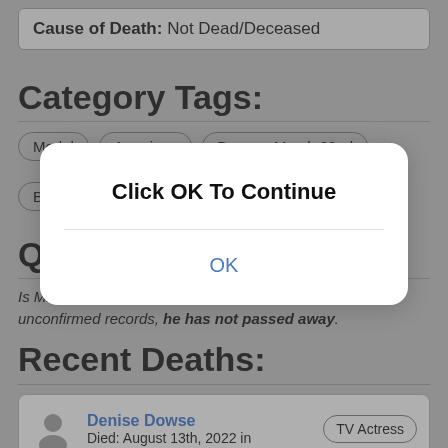Cause of Death: Not Dead/Deceased
Category Tags:
Model
American
Born on March 22nd
Born in 1...
Born in California
Quotable Quotes:
Is Mr. Lindsay Frimodt still alive? According to our unconfirmed records, he has not passed away.
Recent Deaths:
Denise Dowse
Died: August 13th, 2022 in
TV Actress
[Figure (screenshot): Modal dialog with 'Click OK To Continue' message and an OK button]